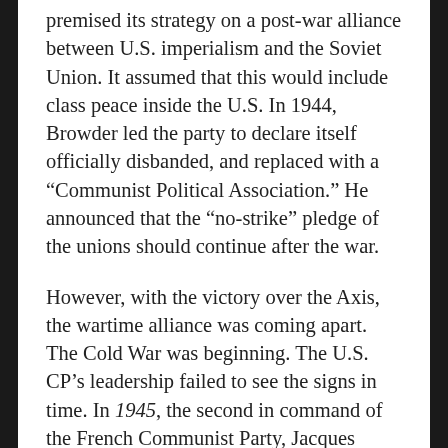premised its strategy on a post-war alliance between U.S. imperialism and the Soviet Union. It assumed that this would include class peace inside the U.S. In 1944, Browder led the party to declare itself officially disbanded, and replaced with a “Communist Political Association.” He announced that the “no-strike” pledge of the unions should continue after the war.
However, with the victory over the Axis, the wartime alliance was coming apart. The Cold War was beginning. The U.S. CP’s leadership failed to see the signs in time. In 1945, the second in command of the French Communist Party, Jacques Duclos, after visiting with Stalin, published an article denouncing the policies of the U.S. CP. In